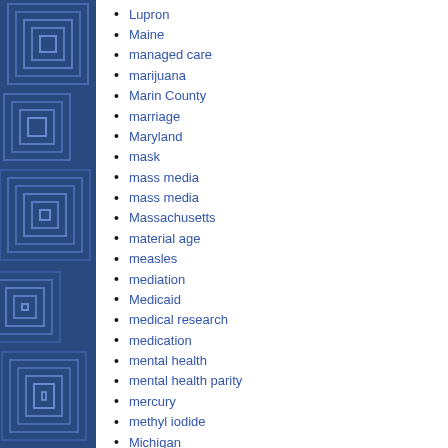[Figure (illustration): Dark blue decorative sidebar with concentric rectangle geometric pattern in lighter blue tones.]
Lupron
Maine
managed care
marijuana
Marin County
marriage
Maryland
mask
mass media
mass media
Massachusetts
material age
measles
mediation
Medicaid
medical research
medication
mental health
mental health parity
mercury
methyl iodide
Michigan